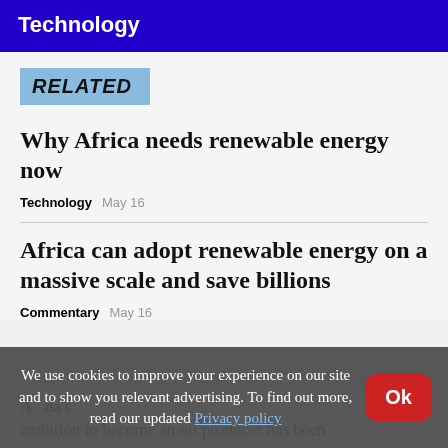Technology
RELATED
Why Africa needs renewable energy now
Technology   May 16
Africa can adopt renewable energy on a massive scale and save billions
Commentary   May 16
We use cookies to improve your experience on our site and to show you relevant advertising. To find out more, read our updated Privacy policy